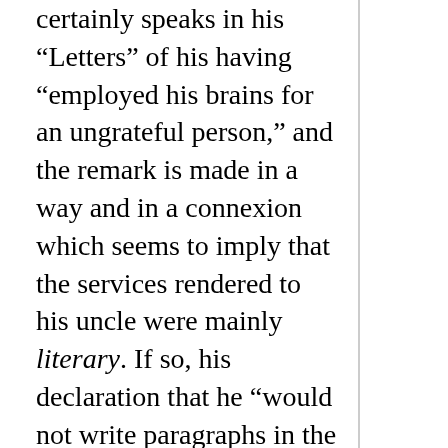certainly speaks in his “Letters” of his having “employed his brains for an ungrateful person,” and the remark is made in a way and in a connexion which seems to imply that the services rendered to his uncle were mainly literary. If so, his declaration that he “would not write paragraphs in the newspapers” can only mean that he would not go on writing them. Be this as it may, however, it is certain that the Archdeacon for some time found his account in maintaining friendly relations with his nephew, and that during that period he